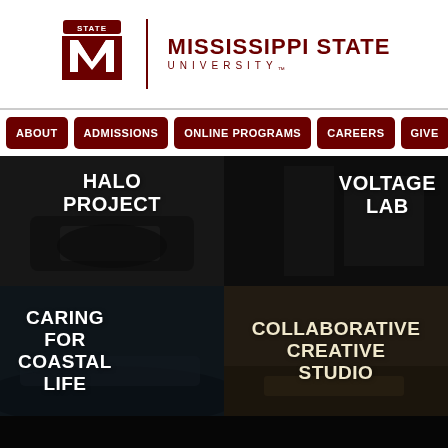[Figure (logo): Mississippi State University logo with block M and STATE banner, vertical divider, and university name text]
[Figure (screenshot): Navigation bar with dark red rounded buttons: ABOUT, ADMISSIONS, ONLINE PROGRAMS, CAREERS, GIVE]
[Figure (photo): Top-left image panel: dark photo of an off-road vehicle/ATV in a garage, overlay text reads HALO PROJECT]
[Figure (photo): Top-right image panel: dark photo of an industrial/electrical lab space, overlay text reads VOLTAGE LAB]
[Figure (photo): Bottom-left image panel: dark photo of people on a boat on water, overlay text reads CARING FOR COASTAL LIFE]
[Figure (photo): Bottom-right image panel: dark brownish photo of creative/studio space with materials, overlay text reads COLLABORATIVE CREATIVE STUDIO]
[Figure (photo): Partial bottom strip: dark image strip at the very bottom of the page]